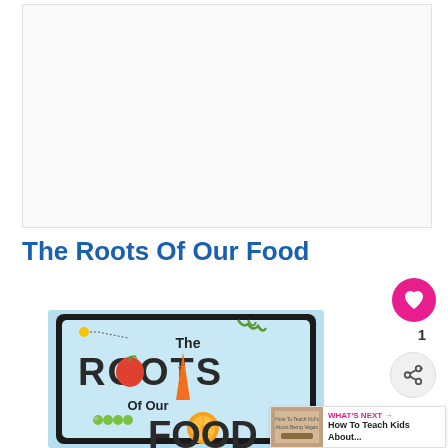[Figure (other): Advertisement placeholder — large white/light gray rectangular ad unit at top of page]
The Roots Of Our Food
[Figure (illustration): Book cover for 'The Roots Of Our Food' — shows illustrated book with apple, carrot, caterpillar, orange on a light blue background with bold typographic title]
[Figure (other): Pink circular heart/favorite button with white heart icon and count of 1 below it]
[Figure (other): Gray circular share button with share icon]
1
WHAT'S NEXT → How To Teach Kids About...